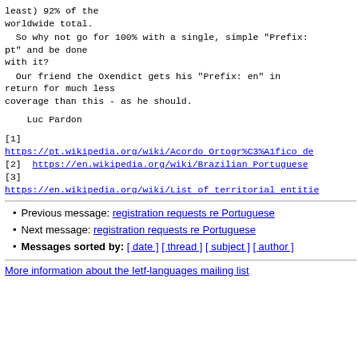least) 92% of the
worldwide total.
So why not go for 100% with a single, simple "Prefix: pt" and be done
with it?
Our friend the Oxendict gets his "Prefix: en" in return for much less
coverage than this - as he should.
Luc Pardon
[1]
https://pt.wikipedia.org/wiki/Acordo_Ortogr%C3%A1fico_de
[2]  https://en.wikipedia.org/wiki/Brazilian_Portuguese
[3]
https://en.wikipedia.org/wiki/List_of_territorial_entitie
Previous message: registration requests re Portuguese
Next message: registration requests re Portuguese
Messages sorted by: [ date ] [ thread ] [ subject ] [ author ]
More information about the Ietf-languages mailing list